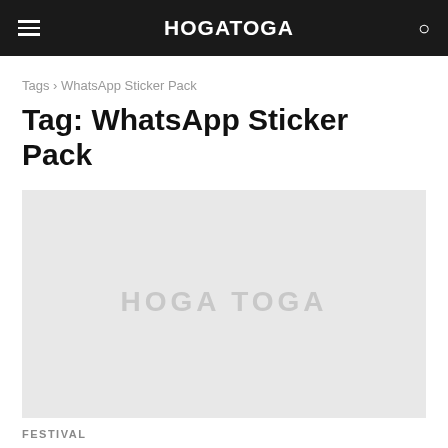HOGATOGA
Tags › WhatsApp Sticker Pack
Tag: WhatsApp Sticker Pack
[Figure (other): Placeholder image with light grey background and watermark text 'HOGA TOGA']
FESTIVAL